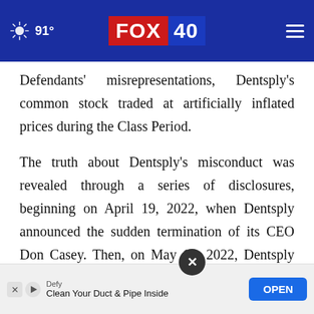91° FOX 40
Defendants' misrepresentations, Dentsply's common stock traded at artificially inflated prices during the Class Period.
The truth about Dentsply's misconduct was revealed through a series of disclosures, beginning on April 19, 2022, when Dentsply announced the sudden termination of its CEO Don Casey. Then, on May 10, 2022, Dentsply announced that, following reports from several whist[leblowers] of its Board of Directors had commenced an internal